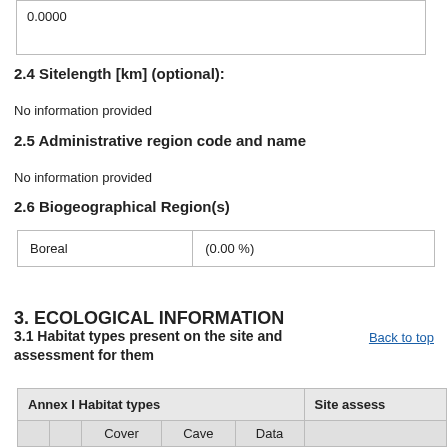0.0000
2.4 Sitelength [km] (optional):
No information provided
2.5 Administrative region code and name
No information provided
2.6 Biogeographical Region(s)
|  |  |
| --- | --- |
| Boreal | (0.00 %) |
3. ECOLOGICAL INFORMATION
Back to top
3.1 Habitat types present on the site and assessment for them
| Annex I Habitat types | Site assess... |
| --- | --- |
|  | Cover | Cave | Data |  |